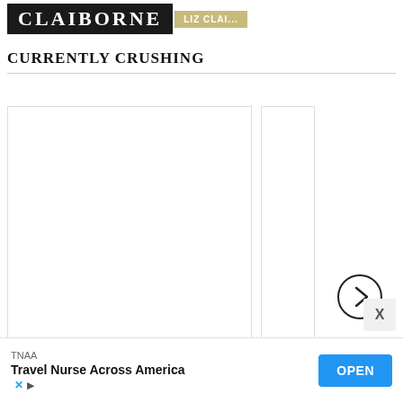[Figure (other): Partial advertisement banner showing CLAIBORNE text in white on dark background and a gold/tan colored badge on the right side]
CURRENTLY CRUSHING
[Figure (other): A content carousel showing two white card placeholders side by side, with a circular next/right-arrow navigation button on the right card, and an X close button at the far right]
[Figure (other): Bottom advertisement bar for TNAA - Travel Nurse Across America with an OPEN button and ad attribution icons]